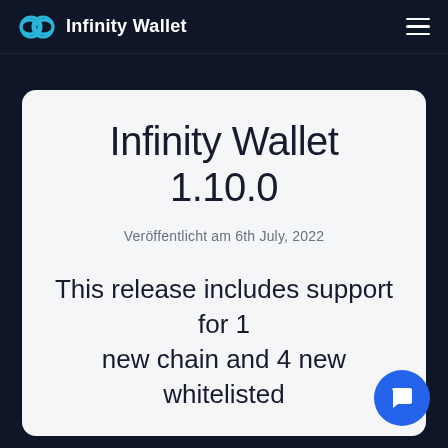Infinity Wallet
Infinity Wallet 1.10.0
Veröffentlicht am 6th July, 2022
This release includes support for 1 new chain and 4 new whitelisted